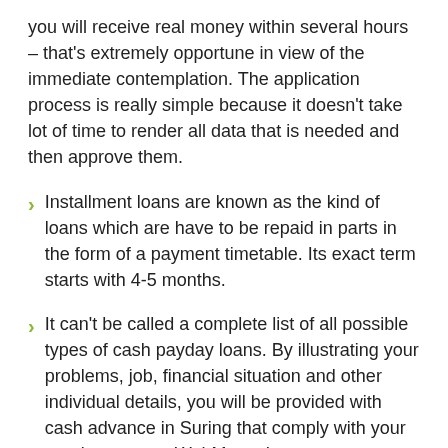you will receive real money within several hours – that's extremely opportune in view of the immediate contemplation. The application process is really simple because it doesn't take lot of time to render all data that is needed and then approve them.
Installment loans are known as the kind of loans which are have to be repaid in parts in the form of a payment timetable. Its exact term starts with 4-5 months.
It can't be called a complete list of all possible types of cash payday loans. By illustrating your problems, job, financial situation and other individual details, you will be provided with cash advance in Suring that comply with your requirements at WebMoneyLoans.